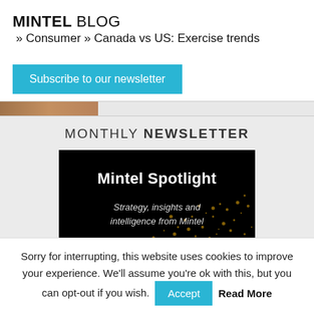MINTEL BLOG » Consumer » Canada vs US: Exercise trends
Subscribe to our newsletter
[Figure (photo): Partial image strip showing a brownish outdoor scene, cropped at the top]
MONTHLY NEWSLETTER
[Figure (illustration): Mintel Spotlight promotional banner with black background and golden dot pattern. Text reads: Mintel Spotlight / Strategy, insights and intelligence from Mintel]
Sorry for interrupting, this website uses cookies to improve your experience. We'll assume you're ok with this, but you can opt-out if you wish. Accept  Read More